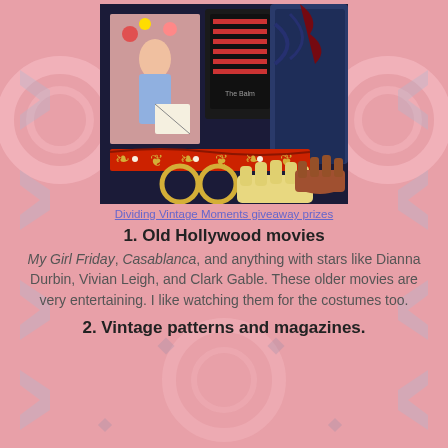[Figure (photo): Vintage giveaway items including fashion accessories, nail art box, red jeweled headband, gold hoop earrings, leather gloves, and a vintage pin-up style book/magazine, arranged on a dark fabric background.]
Dividing Vintage Moments giveaway prizes
1. Old Hollywood movies
My Girl Friday, Casablanca, and anything with stars like Dianna Durbin, Vivian Leigh, and Clark Gable. These older movies are very entertaining. I like watching them for the costumes too.
2. Vintage patterns and magazines.